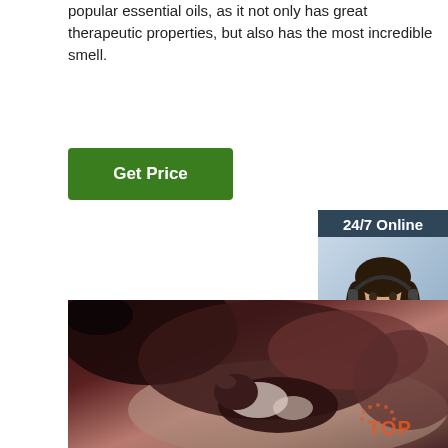popular essential oils, as it not only has great therapeutic properties, but also has the most incredible smell.
[Figure (other): Green 'Get Price' button]
[Figure (other): 24/7 Online chat widget with woman wearing headset, 'Click here for free chat!' text, and orange QUOTATION button]
[Figure (photo): Photo of animals (appears to be a cow/cattle with calf) lying on sandy ground, dark brown tones]